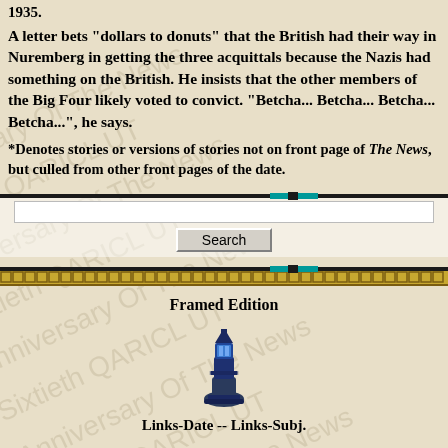1935.
A letter bets "dollars to donuts" that the British had their way in Nuremberg in getting the three acquittals because the Nazis had something on the British. He insists that the other members of the Big Four likely voted to convict. "Betcha... Betcha... Betcha... Betcha...", he says.
*Denotes stories or versions of stories not on front page of The News, but culled from other front pages of the date.
[Figure (other): Horizontal divider bar with teal/cyan highlight near center]
[Figure (other): Search input field and Search button]
[Figure (other): Horizontal divider bar with teal/cyan highlight near center]
[Figure (other): Greek key ornament decorative bar]
Framed Edition
[Figure (photo): Blue lighthouse lamp house icon]
Links-Date -- Links-Subj.